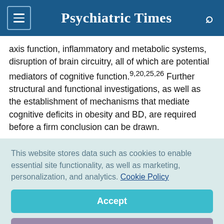Psychiatric Times
axis function, inflammatory and metabolic systems, disruption of brain circuitry, all of which are potential mediators of cognitive function.9,20,25,26 Further structural and functional investigations, as well as the establishment of mechanisms that mediate cognitive deficits in obesity and BD, are required before a firm conclusion can be drawn.
This website stores data such as cookies to enable essential site functionality, as well as marketing, personalization, and analytics. Cookie Policy
Accept
Deny